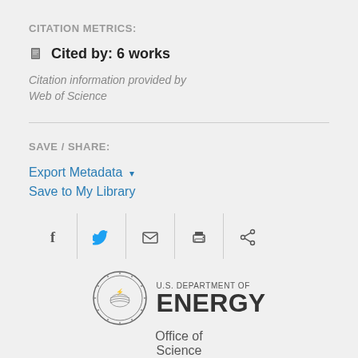CITATION METRICS:
📚 Cited by: 6 works
Citation information provided by Web of Science
SAVE / SHARE:
Export Metadata ▾
Save to My Library
[Figure (infographic): Social sharing icons row: Facebook, Twitter, Email, Print, Share]
[Figure (logo): U.S. Department of Energy logo with circular seal and text 'U.S. DEPARTMENT OF ENERGY' and 'Office of Science']